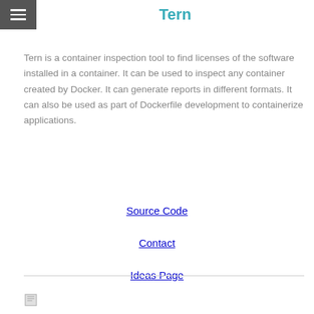Tern
Tern is a container inspection tool to find licenses of the software installed in a container. It can be used to inspect any container created by Docker. It can generate reports in different formats. It can also be used as part of Dockerfile development to containerize applications.
Source Code
Contact
Ideas Page